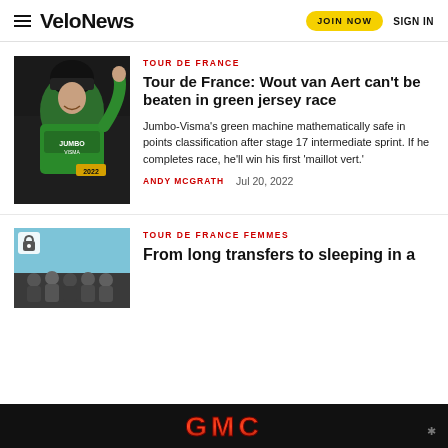VeloNews | JOIN NOW | SIGN IN
[Figure (photo): Cyclist in green jersey raising arm, Jumbo-Visma team]
TOUR DE FRANCE
Tour de France: Wout van Aert can't be beaten in green jersey race
Jumbo-Visma's green machine mathematically safe in points classification after stage 17 intermediate sprint. If he completes race, he'll win his first 'maillot vert.'
ANDY MCGRATH    Jul 20, 2022
[Figure (photo): Group of cyclists/people with blue background, lock icon overlay]
TOUR DE FRANCE FEMMES
From long transfers to sleeping in a
[Figure (other): GMC advertisement banner, black background with red GMC logo]